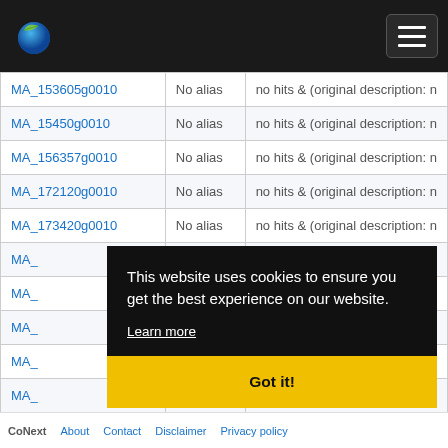Navigation bar with logo and menu button
| Gene ID | Alias | Description |
| --- | --- | --- |
| MA_153605g0010 | No alias | no hits & (original description: n |
| MA_15450g0010 | No alias | no hits & (original description: n |
| MA_156357g0010 | No alias | no hits & (original description: n |
| MA_172120g0010 | No alias | no hits & (original description: n |
| MA_173420g0010 | No alias | no hits & (original description: n |
| MA_... | No alias |  |
| MA_... | No alias |  |
| MA_... | No alias |  |
| MA_... | No alias |  |
| MA_... |  |  |
This website uses cookies to ensure you get the best experience on our website. Learn more
CoNext  About  Contact  Disclaimer  Privacy policy